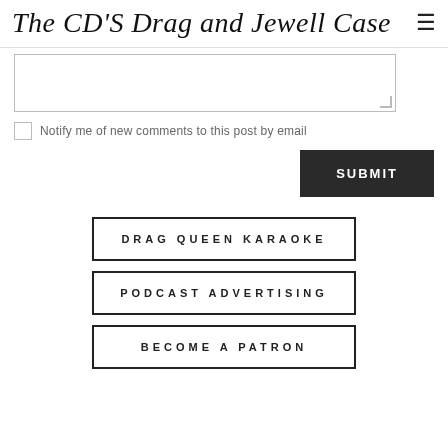The CD'S Drag and Jewell Case
Notify me of new comments to this post by email
SUBMIT
DRAG QUEEN KARAOKE
PODCAST ADVERTISING
BECOME A PATRON